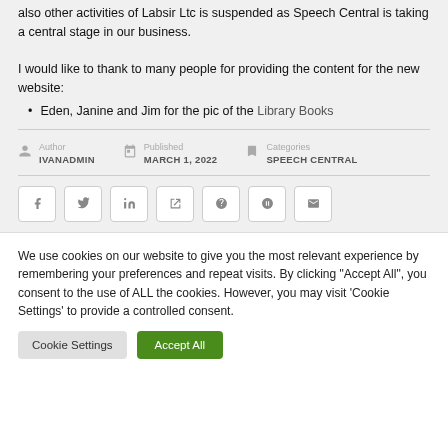also other activities of Labsir Ltc is suspended as Speech Central is taking a central stage in our business.
I would like to thank to many people for providing the content for the new website:
Eden, Janine and Jim for the pic of the Library Books
Author: IVANADMIN | Published: MARCH 1, 2022 | Categories: SPEECH CENTRAL
[Figure (other): Social sharing buttons: Facebook, Twitter, LinkedIn, Tumblr, Google+, Pinterest, Email]
We use cookies on our website to give you the most relevant experience by remembering your preferences and repeat visits. By clicking "Accept All", you consent to the use of ALL the cookies. However, you may visit 'Cookie Settings' to provide a controlled consent.
Cookie Settings | Accept All